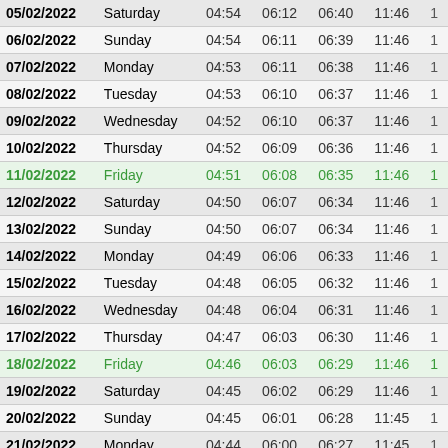| Date | Day | Col3 | Col4 | Col5 | Col6 | Col7 |
| --- | --- | --- | --- | --- | --- | --- |
| 05/02/2022 | Saturday | 04:54 | 06:12 | 06:40 | 11:46 | 1 |
| 06/02/2022 | Sunday | 04:54 | 06:11 | 06:39 | 11:46 | 1 |
| 07/02/2022 | Monday | 04:53 | 06:11 | 06:38 | 11:46 | 1 |
| 08/02/2022 | Tuesday | 04:53 | 06:10 | 06:37 | 11:46 | 1 |
| 09/02/2022 | Wednesday | 04:52 | 06:10 | 06:37 | 11:46 | 1 |
| 10/02/2022 | Thursday | 04:52 | 06:09 | 06:36 | 11:46 | 1 |
| 11/02/2022 | Friday | 04:51 | 06:08 | 06:35 | 11:46 | 1 |
| 12/02/2022 | Saturday | 04:50 | 06:07 | 06:34 | 11:46 | 1 |
| 13/02/2022 | Sunday | 04:50 | 06:07 | 06:34 | 11:46 | 1 |
| 14/02/2022 | Monday | 04:49 | 06:06 | 06:33 | 11:46 | 1 |
| 15/02/2022 | Tuesday | 04:48 | 06:05 | 06:32 | 11:46 | 1 |
| 16/02/2022 | Wednesday | 04:48 | 06:04 | 06:31 | 11:46 | 1 |
| 17/02/2022 | Thursday | 04:47 | 06:03 | 06:30 | 11:46 | 1 |
| 18/02/2022 | Friday | 04:46 | 06:03 | 06:29 | 11:46 | 1 |
| 19/02/2022 | Saturday | 04:45 | 06:02 | 06:29 | 11:46 | 1 |
| 20/02/2022 | Sunday | 04:45 | 06:01 | 06:28 | 11:45 | 1 |
| 21/02/2022 | Monday | 04:44 | 06:00 | 06:27 | 11:45 | 1 |
| 22/02/2022 | Tuesday | 04:43 | 05:59 | 06:26 | 11:45 | 1 |